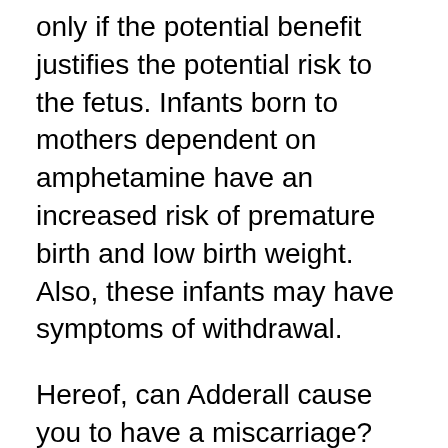only if the potential benefit justifies the potential risk to the fetus. Infants born to mothers dependent on amphetamine have an increased risk of premature birth and low birth weight. Also, these infants may have symptoms of withdrawal.
Hereof, can Adderall cause you to have a miscarriage?
The Risks. “Adderall has been shown to cause birth defects in mice, so pregnant women are advised not to use it,” explains psychiatrist Eva Ritvo, M.D. Adderall was shown to cause birth defects and increased miscarriage in lab mice, as well as disordered brain chemical function resulting in downstream consequences.